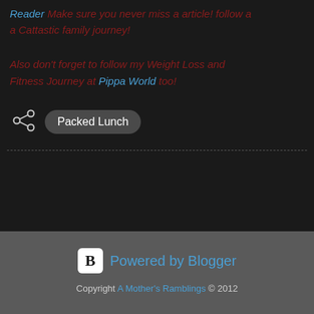Reader Make sure you never miss a article! follow a Cattastic family journey!
Also don't forget to follow my Weight Loss and Fitness Journey at Pippa World too!
Packed Lunch
Powered by Blogger
Copyright A Mother's Ramblings © 2012